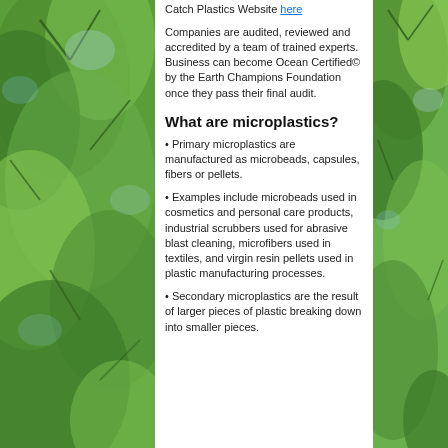Catch Plastics Website here
Companies are audited, reviewed and accredited by a team of trained experts. Business can become Ocean Certified© by the Earth Champions Foundation once they pass their final audit.
What are microplastics?
• Primary microplastics are manufactured as microbeads, capsules, fibers or pellets.
• Examples include microbeads used in cosmetics and personal care products, industrial scrubbers used for abrasive blast cleaning, microfibers used in textiles, and virgin resin pellets used in plastic manufacturing processes.
• Secondary microplastics are the result of larger pieces of plastic breaking down into smaller pieces.